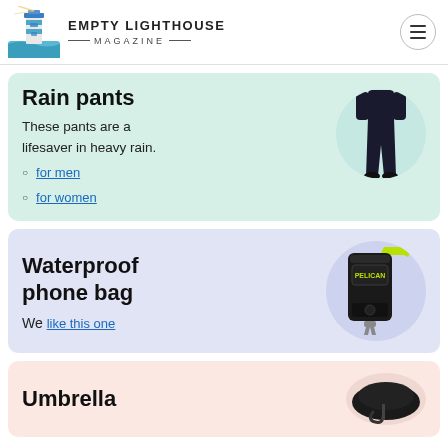EMPTY LIGHTHOUSE MAGAZINE
Rain pants
These pants are a lifesaver in heavy rain.
for men
for women
[Figure (photo): Person wearing black rain pants, full length view]
Waterproof phone bag
We like this one
[Figure (photo): Black waterproof phone bag with yellow-green lanyard strap]
Umbrella
[Figure (photo): Black folded umbrella]